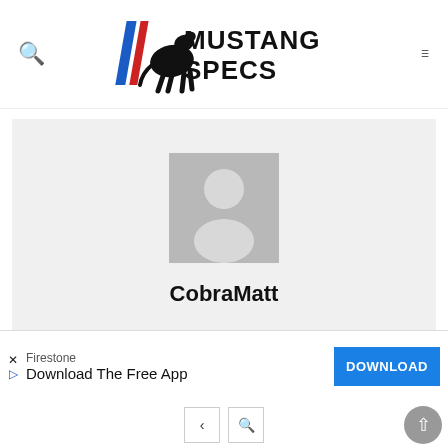[Figure (logo): Mustang Specs logo with running horse and stylized text]
[Figure (photo): User profile section with grey avatar placeholder and username CobraMatt]
CobraMatt
[Figure (infographic): Advertisement bar: Firestone - Download The Free App - DOWNLOAD button]
Back to top button and pagination controls